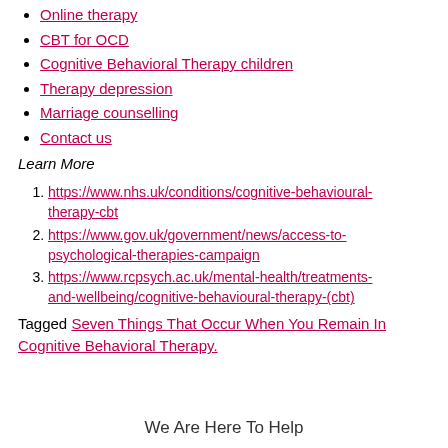Online therapy
CBT for OCD
Cognitive Behavioral Therapy children
Therapy depression
Marriage counselling
Contact us
Learn More
https://www.nhs.uk/conditions/cognitive-behavioural-therapy-cbt
https://www.gov.uk/government/news/access-to-psychological-therapies-campaign
https://www.rcpsych.ac.uk/mental-health/treatments-and-wellbeing/cognitive-behavioural-therapy-(cbt)
Tagged Seven Things That Occur When You Remain In Cognitive Behavioral Therapy.
We Are Here To Help